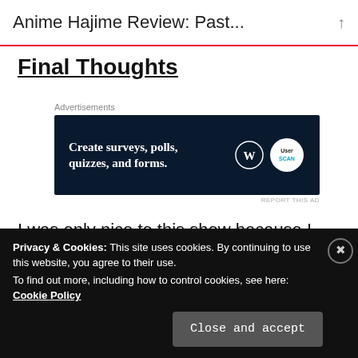Anime Hajime Review: Past...
Final Thoughts
[Figure (other): Advertisement banner: 'Create surveys, polls, quizzes, and forms.' with WordPress and SurveyMonkey logos on dark navy background]
I was only nice to this show because I just so happened to watch it after having sat through a
Privacy & Cookies: This site uses cookies. By continuing to use this website, you agree to their use. To find out more, including how to control cookies, see here: Cookie Policy